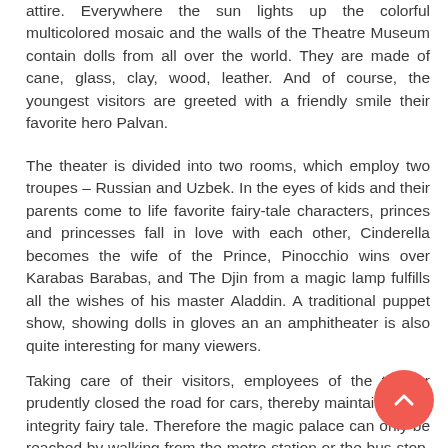attire. Everywhere the sun lights up the colorful multicolored mosaic and the walls of the Theatre Museum contain dolls from all over the world. They are made of cane, glass, clay, wood, leather. And of course, the youngest visitors are greeted with a friendly smile their favorite hero Palvan.
The theater is divided into two rooms, which employ two troupes – Russian and Uzbek. In the eyes of kids and their parents come to life favorite fairy-tale characters, princes and princesses fall in love with each other, Cinderella becomes the wife of the Prince, Pinocchio wins over Karabas Barabas, and The Djin from a magic lamp fulfills all the wishes of his master Aladdin. A traditional puppet show, showing dolls in gloves an an amphitheater is also quite interesting for many viewers.
Taking care of their visitors, employees of the theater prudently closed the road for cars, thereby maintaining the integrity fairy tale. Therefore the magic palace can only be reached by walking from the metro station or the bus stop. Call – (+998 71)